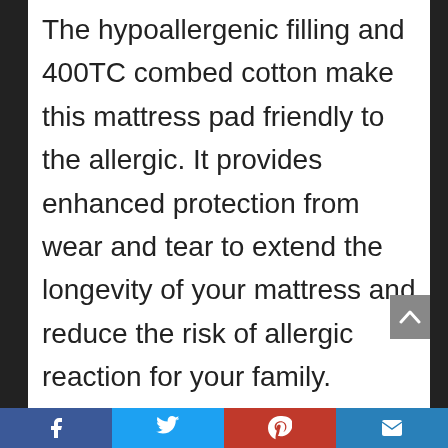The hypoallergenic filling and 400TC combed cotton make this mattress pad friendly to the allergic. It provides enhanced protection from wear and tear to extend the longevity of your mattress and reduce the risk of allergic reaction for your family. Shield your mattress as a barrier from dust mites and other allergens to protect and make your mattress a healthier place to sleep.
4.Deep Pocket and Machine Washable. Deep pocket design effortlessly grips any mattress up to